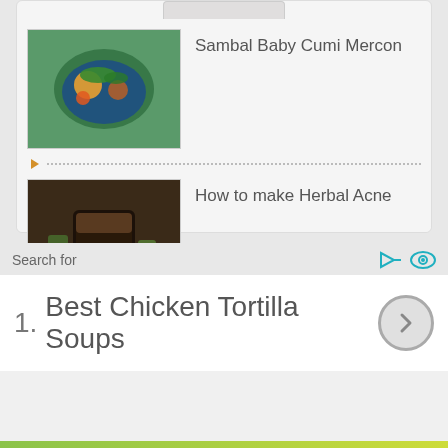[Figure (photo): Food thumbnail: Sambal Baby Cumi Mercon dish in blue bowl]
Sambal Baby Cumi Mercon
[Figure (photo): Drink thumbnail: dark herbal drink in glass mug]
How to make Herbal Acne
[Figure (photo): Drink thumbnail: yellow juice with pineapple]
Flu Preventing Juice Recipe
Search for
1.  Best Chicken Tortilla Soups